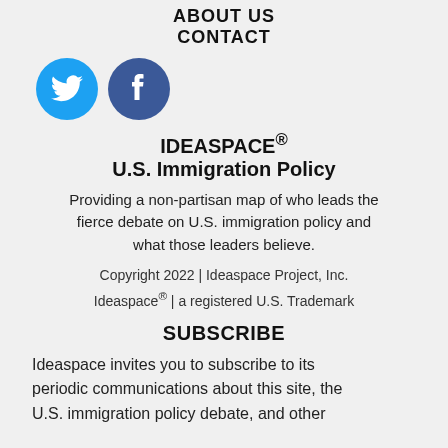ABOUT US
CONTACT
[Figure (logo): Twitter and Facebook social media icon circles — Twitter in light blue, Facebook in dark blue]
IDEASPACE®
U.S. Immigration Policy
Providing a non-partisan map of who leads the fierce debate on U.S. immigration policy and what those leaders believe.
Copyright 2022 | Ideaspace Project, Inc. Ideaspace® | a registered U.S. Trademark
SUBSCRIBE
Ideaspace invites you to subscribe to its periodic communications about this site, the U.S. immigration policy debate, and other